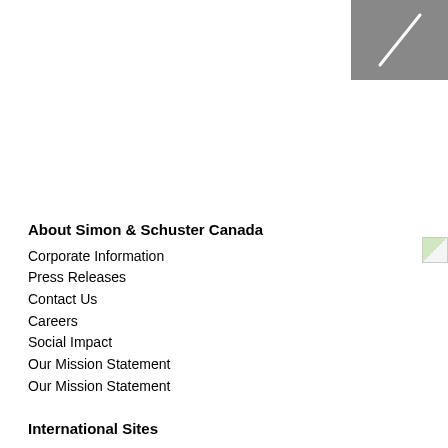[Figure (photo): Dark gray rectangle with a diagonal white line, top-right corner decoration]
[Figure (photo): Small thumbnail image, partially visible at right edge]
About Simon & Schuster Canada
Corporate Information
Press Releases
Contact Us
Careers
Social Impact
Our Mission Statement
Our Mission Statement
International Sites
Australia